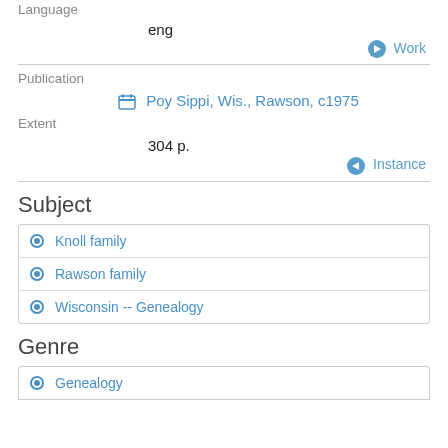Language
eng
⊙ Work
Publication
📅 Poy Sippi, Wis., Rawson, c1975
Extent
304 p.
⊙ Instance
Subject
⚙ Knoll family
⚙ Rawson family
⚙ Wisconsin -- Genealogy
Genre
⚙ Genealogy